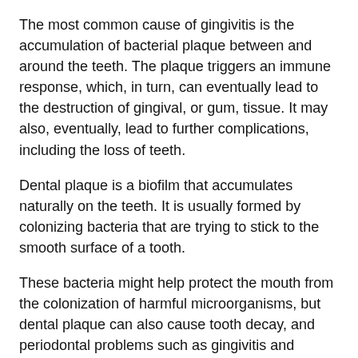The most common cause of gingivitis is the accumulation of bacterial plaque between and around the teeth. The plaque triggers an immune response, which, in turn, can eventually lead to the destruction of gingival, or gum, tissue. It may also, eventually, lead to further complications, including the loss of teeth.
Dental plaque is a biofilm that accumulates naturally on the teeth. It is usually formed by colonizing bacteria that are trying to stick to the smooth surface of a tooth.
These bacteria might help protect the mouth from the colonization of harmful microorganisms, but dental plaque can also cause tooth decay, and periodontal problems such as gingivitis and chronic periodontitis, a gum infection.
When plaque is not removed adequately, it can harden into calculus, or tartar, at the base of the teeth, near the gums. This has a yellow color. Calculus can only